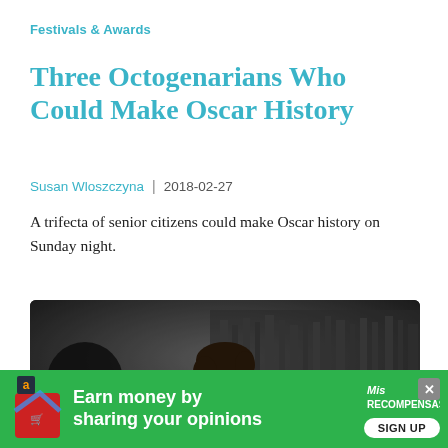Festivals & Awards
Three Octogenarians Who Could Make Oscar History
Susan Wloszczyna  |  2018-02-27
A trifecta of senior citizens could make Oscar history on Sunday night.
[Figure (photo): Black and white photo of a man leaning forward intensely, likely in a recording or work setting, with bookshelves visible in the background]
[Figure (infographic): Green advertisement banner: 'Earn money by sharing your opinions' with a SIGN UP button and Mis Recompensas logo, with Amazon/shopping icon on the left and close button on the right]